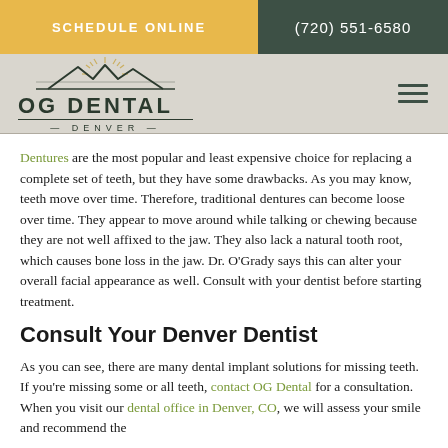SCHEDULE ONLINE | (720) 551-6580
[Figure (logo): OG Dental Denver logo with mountain and sunburst icon]
Dentures are the most popular and least expensive choice for replacing a complete set of teeth, but they have some drawbacks. As you may know, teeth move over time. Therefore, traditional dentures can become loose over time. They appear to move around while talking or chewing because they are not well affixed to the jaw. They also lack a natural tooth root, which causes bone loss in the jaw. Dr. O'Grady says this can alter your overall facial appearance as well. Consult with your dentist before starting treatment.
Consult Your Denver Dentist
As you can see, there are many dental implant solutions for missing teeth. If you're missing some or all teeth, contact OG Dental for a consultation. When you visit our dental office in Denver, CO, we will assess your smile and recommend the